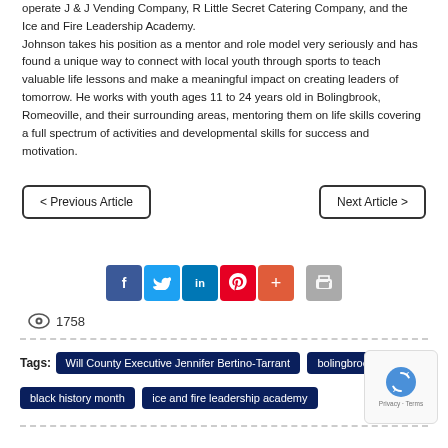operate J & J Vending Company, R Little Secret Catering Company, and the Ice and Fire Leadership Academy.
Johnson takes his position as a mentor and role model very seriously and has found a unique way to connect with local youth through sports to teach valuable life lessons and make a meaningful impact on creating leaders of tomorrow. He works with youth ages 11 to 24 years old in Bolingbrook, Romeoville, and their surrounding areas, mentoring them on life skills covering a full spectrum of activities and developmental skills for success and motivation.
< Previous Article
Next Article >
[Figure (infographic): Social sharing buttons: Facebook (blue), Twitter (light blue), LinkedIn (teal), Pinterest (red), Plus/share (orange-red), and Print (gray)]
1758
Tags: Will County Executive Jennifer Bertino-Tarrant  bolingbrook  black history month  ice and fire leadership academy